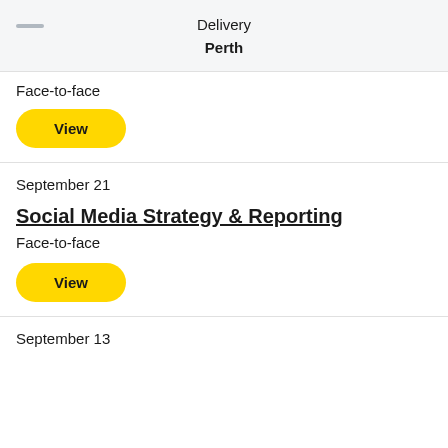Delivery
Perth
Face-to-face
View
September 21
Social Media Strategy & Reporting
Face-to-face
View
September 13